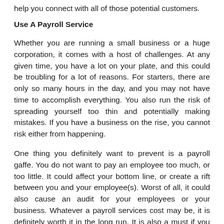help you connect with all of those potential customers.
Use A Payroll Service
Whether you are running a small business or a huge corporation, it comes with a host of challenges. At any given time, you have a lot on your plate, and this could be troubling for a lot of reasons. For starters, there are only so many hours in the day, and you may not have time to accomplish everything. You also run the risk of spreading yourself too thin and potentially making mistakes. If you have a business on the rise, you cannot risk either from happening.
One thing you definitely want to prevent is a payroll gaffe. You do not want to pay an employee too much, or too little. It could affect your bottom line, or create a rift between you and your employee(s). Worst of all, it could also cause an audit for your employees or your business. Whatever a payroll services cost may be, it is definitely worth it in the long run. It is also a must if you are looking to expand your business and hire more employees.
Running a business has numerous risks and rewards, and you should save money any way you can. This can be done in a variety